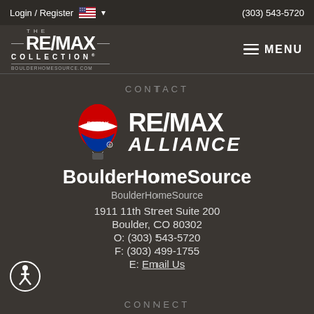Login / Register  (303) 543-5720
[Figure (logo): RE/MAX Collection logo with BOULDERHOMESOURCE.COM and MENU hamburger button]
CONTACT
[Figure (logo): RE/MAX Alliance hot air balloon logo with RE/MAX text and ALLIANCE below]
BoulderHomeSource
BoulderHomeSource
1911 11th Street Suite 200
Boulder, CO 80302
O: (303) 543-5720
F: (303) 499-1755
E: Email Us
CONNECT